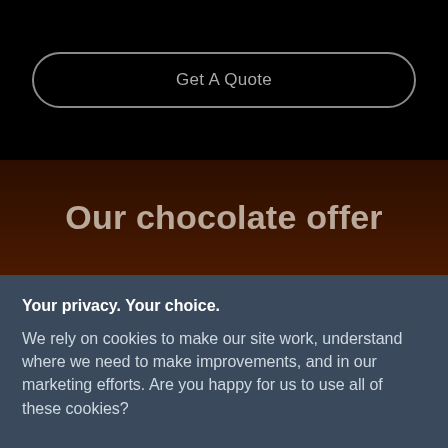Get A Quote
Our chocolate offer
Your privacy. Your choice.

We rely on cookies to make our site work, understand where we need to make improvements, and in our marketing efforts. Are you happy for us to use all of these cookies?
Accept
Settings